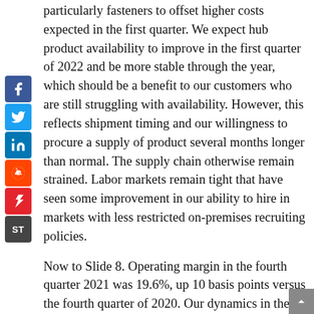particularly fasteners to offset higher costs expected in the first quarter. We expect hub product availability to improve in the first quarter of 2022 and be more stable through the year, which should be a benefit to our customers who are still struggling with availability. However, this reflects shipment timing and our willingness to procure a supply of product several months longer than normal. The supply chain otherwise remain strained. Labor markets remain tight that have seen some improvement in our ability to hire in markets with less restricted on-premises recruiting policies.
Now to Slide 8. Operating margin in the fourth quarter 2021 was 19.6%, up 10 basis points versus the fourth quarter of 2020. Our dynamics in the quarter mimic the full year with gross margin rising off of 2020's product-driven low margin and operating expenses being